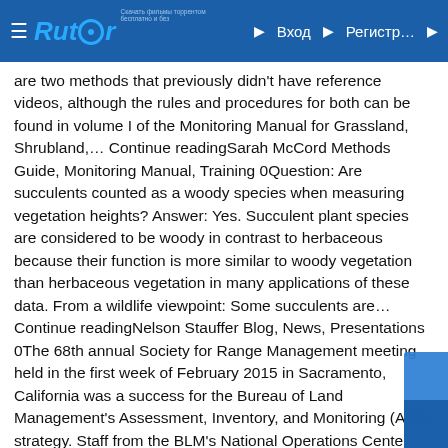Rutor — Вход — Регистр…
are two methods that previously didn't have reference videos, although the rules and procedures for both can be found in volume I of the Monitoring Manual for Grassland, Shrubland,… Continue readingSarah McCord Methods Guide, Monitoring Manual, Training 0Question: Are succulents counted as a woody species when measuring vegetation heights? Answer: Yes. Succulent plant species are considered to be woody in contrast to herbaceous because their function is more similar to woody vegetation than herbaceous vegetation in many applications of these data. From a wildlife viewpoint: Some succulents are… Continue readingNelson Stauffer Blog, News, Presentations 0The 68th annual Society for Range Management meeting held in the first week of February 2015 in Sacramento, California was a success for the Bureau of Land Management's Assessment, Inventory, and Monitoring (AIM) strategy. Staff from the BLM's National Operations Center and the USDA-ARS Jornada hosted a day-long symposium to…Continue readingJason Karl Blog, Sample Design sample design, sampling 0What is an Inference Space? Inference space can be defined in many ways, but can be generally described as the limits to how broadly a particular